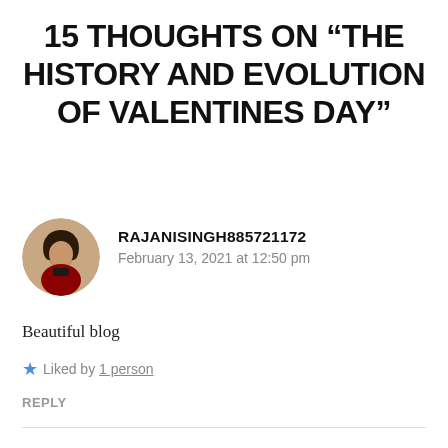15 THOUGHTS ON “THE HISTORY AND EVOLUTION OF VALENTINES DAY”
RAJANISINGH885721172
February 13, 2021 at 12:50 pm
Beautiful blog
★ Liked by 1 person
REPLY